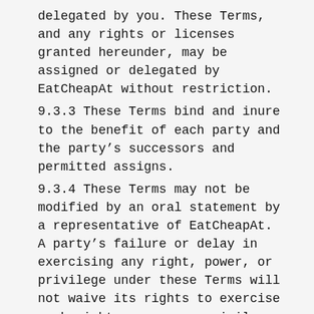delegated by you. These Terms, and any rights or licenses granted hereunder, may be assigned or delegated by EatCheapAt without restriction.
9.3.3 These Terms bind and inure to the benefit of each party and the party's successors and permitted assigns.
9.3.4 These Terms may not be modified by an oral statement by a representative of EatCheapAt.  A party's failure or delay in exercising any right, power, or privilege under these Terms will not waive its rights to exercise such right, power, or privilege in the future, nor will any single or partial exercise of any right, power, or privilege preclude any other or further exercise of such right, power, or privilege, or the exercise of any other right, power, or privilege under these Terms.
9.3.5 No agency, partnership, joint venture, or employee-employer relationship is intended or